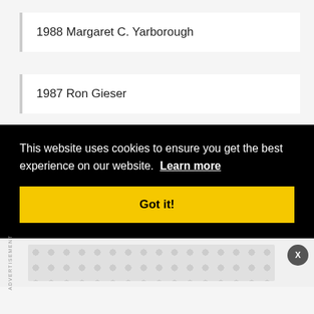1988 Margaret C. Yarborough
1987 Ron Gieser
This website uses cookies to ensure you get the best experience on our website. Learn more
Got it!